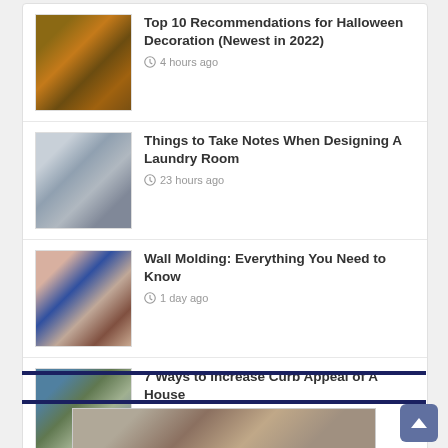Top 10 Recommendations for Halloween Decoration (Newest in 2022) · 4 hours ago
Things to Take Notes When Designing A Laundry Room · 23 hours ago
Wall Molding: Everything You Need to Know · 1 day ago
7 Ways to Increase Curb Appeal of A House · 2 days ago
[Figure (screenshot): Partial bottom image showing a decorative wreath on a door]
[Figure (other): Scroll-to-top chevron button]